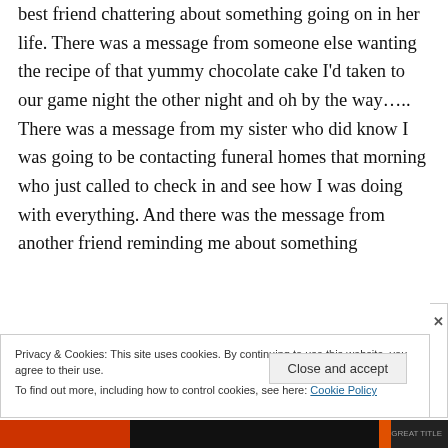best friend chattering about something going on in her life. There was a message from someone else wanting the recipe of that yummy chocolate cake I'd taken to our game night the other night and oh by the way….. There was a message from my sister who did know I was going to be contacting funeral homes that morning who just called to check in and see how I was doing with everything. And there was the message from another friend reminding me about something
Privacy & Cookies: This site uses cookies. By continuing to use this website, you agree to their use.
To find out more, including how to control cookies, see here: Cookie Policy